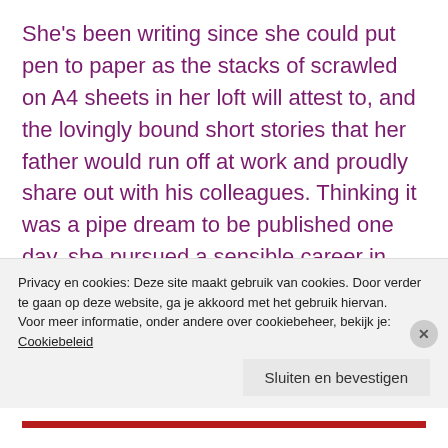She's been writing since she could put pen to paper as the stacks of scrawled on A4 sheets in her loft will attest to, and the lovingly bound short stories that her father would run off at work and proudly share out with his colleagues. Thinking it was a pipe dream to be published one day, she pursued a sensible career in business but she was really play-acting, achieving the appropriate degree and spending many years in the corporate world where she never truly belonged.
Privacy en cookies: Deze site maakt gebruik van cookies. Door verder te gaan op deze website, ga je akkoord met het gebruik hiervan. Voor meer informatie, onder andere over cookiebeheer, bekijk je: Cookiebeleid
Sluiten en bevestigen